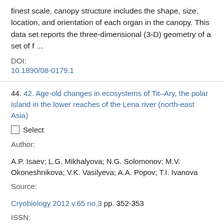finest scale, canopy structure includes the shape, size, location, and orientation of each organ in the canopy. This data set reports the three-dimensional (3-D) geometry of a set of f ...
DOI:
10.1890/08-0179.1
44. 42. Age-old changes in ecosystems of Tit–Ary, the polar island in the lower reaches of the Lena river (north-east Asia)
Select
Author:
A.P. Isaev; L.G. Mikhalyova; N.G. Solomonov; M.V. Okoneshnikova; V.K. Vasilyeva; A.A. Popov; T.I. Ivanova
Source:
Cryobiology 2012 v.65 no.3 pp. 352-353
ISSN:
0011-2240